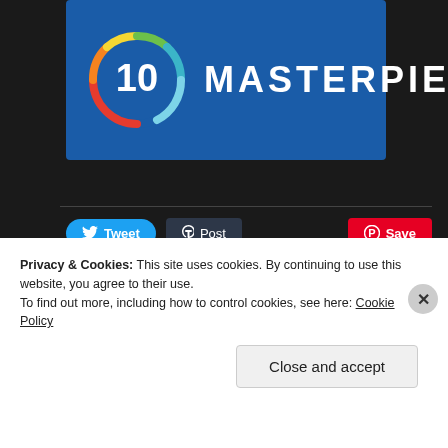[Figure (logo): Score badge showing '10 MASTERPIECE' with a colorful circular arc on a blue background]
[Figure (screenshot): Social sharing buttons: Tweet (Twitter/blue), Post (Tumblr/dark), and Save (Pinterest/red)]
Loading...
Privacy & Cookies: This site uses cookies. By continuing to use this website, you agree to their use.
To find out more, including how to control cookies, see here: Cookie Policy
Close and accept